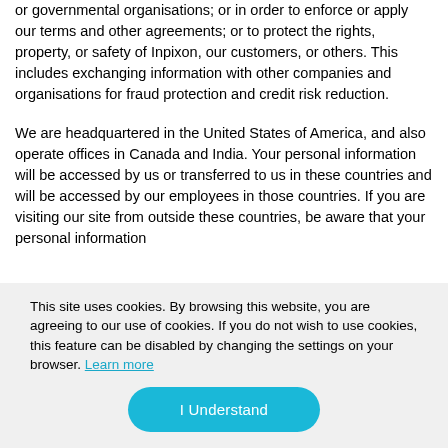or governmental organisations; or in order to enforce or apply our terms and other agreements; or to protect the rights, property, or safety of Inpixon, our customers, or others. This includes exchanging information with other companies and organisations for fraud protection and credit risk reduction.
We are headquartered in the United States of America, and also operate offices in Canada and India. Your personal information will be accessed by us or transferred to us in these countries and will be accessed by our employees in those countries. If you are visiting our site from outside these countries, be aware that your personal information
This site uses cookies. By browsing this website, you are agreeing to our use of cookies. If you do not wish to use cookies, this feature can be disabled by changing the settings on your browser. Learn more
I Understand